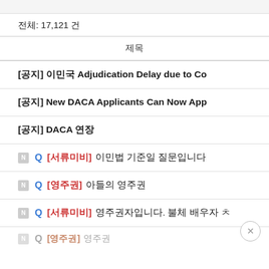전체: 17,121 건
제목
[공지] 이민국 Adjudication Delay due to Co
[공지] New DACA Applicants Can Now App
[공지] DACA 연장
Q [서류미비] 이민법 기준일 질문입니다
Q [영주권] 아들의 영주권
Q [서류미비] 영주권자입니다. 불체 배우자 ㅊ
Q [영주권] 영주권